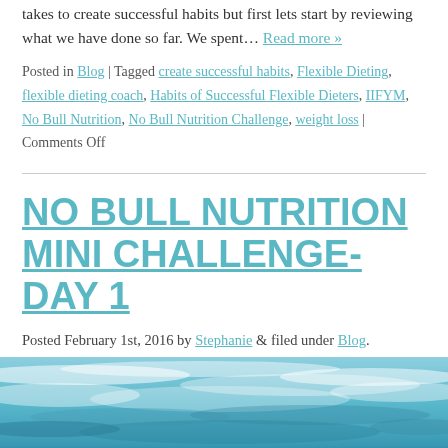takes to create successful habits but first lets start by reviewing what we have done so far. We spent… Read more »
Posted in Blog | Tagged create successful habits, Flexible Dieting, flexible dieting coach, Habits of Successful Flexible Dieters, IIFYM, No Bull Nutrition, No Bull Nutrition Challenge, weight loss | Comments Off
NO BULL NUTRITION MINI CHALLENGE-DAY 1
Posted February 1st, 2016 by Stephanie & filed under Blog.
[Figure (photo): Dramatic sky with blue clouds and wispy white clouds, landscape photo with teal/blue tones]